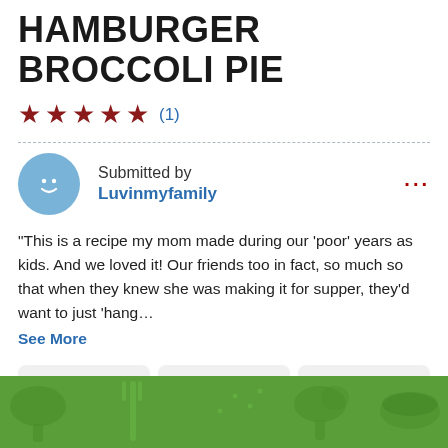HAMBURGER BROCCOLI PIE
★★★★★ (1)
Submitted by Luvinmyfamily
"This is a recipe my mom made during our 'poor' years as kids. And we loved it! Our friends too in fact, so much so that when they knew she was making it for supper, they'd want to just 'hang... See More
[Figure (illustration): Green decorative background image at the bottom of the page with food-related outline illustrations]